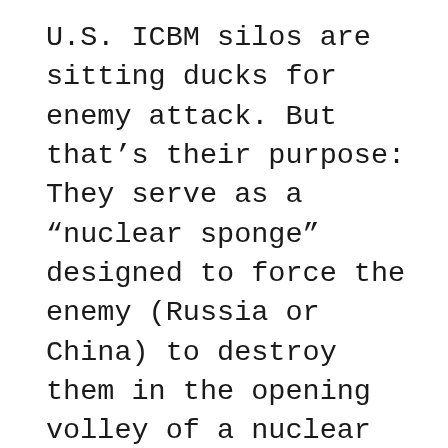U.S. ICBM silos are sitting ducks for enemy attack. But that’s their purpose: They serve as a “nuclear sponge” designed to force the enemy (Russia or China) to destroy them in the opening volley of a nuclear war. That would prevent their use against the attacking state (China or Russia). It also would force the attacking state (Russia or China) to waste precious warheads across the vast expanse of the American High Plains instead of raining them down on more critical military targets or on heavily populated cities. The ICBMs are also on